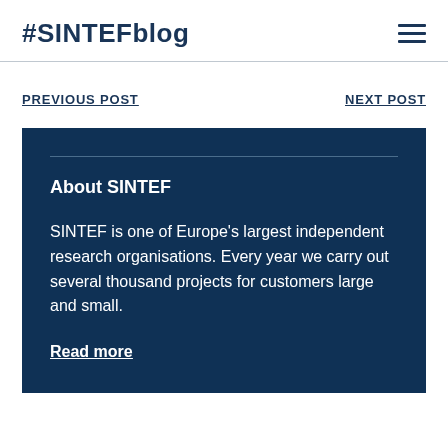#SINTEFblog
PREVIOUS POST
NEXT POST
About SINTEF
SINTEF is one of Europe's largest independent research organisations. Every year we carry out several thousand projects for customers large and small.
Read more